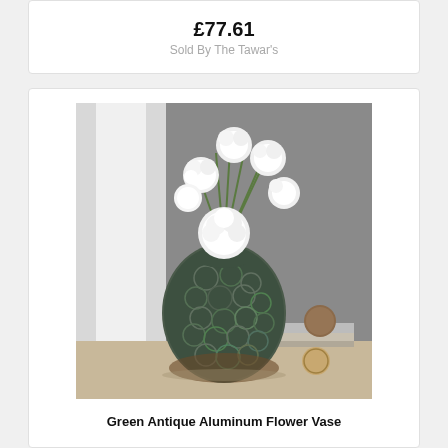£77.61
Sold By The Tawar's
[Figure (photo): Green antique aluminum flower vase with hammered texture, filled with white carnation flowers, placed on a surface with decorative balls and stacked books, against a gray background]
Green Antique Aluminum Flower Vase